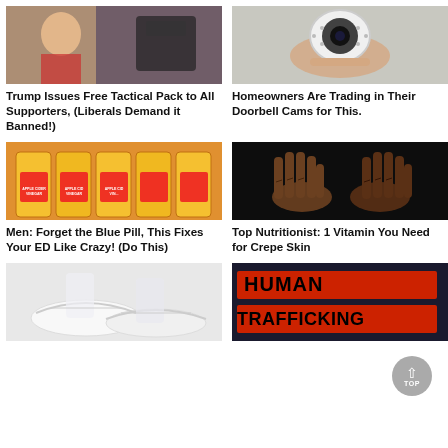[Figure (photo): Trump pointing, in front of American flag with tactical gear]
Trump Issues Free Tactical Pack to All Supporters, (Liberals Demand it Banned!)
[Figure (photo): Hand holding a small white security/doorbell camera]
Homeowners Are Trading in Their Doorbell Cams for This.
[Figure (photo): Multiple bottles of Bragg Apple Cider Vinegar on a shelf]
Men: Forget the Blue Pill, This Fixes Your ED Like Crazy! (Do This)
[Figure (photo): Two aged, wrinkled hands on black background]
Top Nutritionist: 1 Vitamin You Need for Crepe Skin
[Figure (photo): White sneakers/shoes on person's feet]
[Figure (photo): Sign reading HUMAN TRAFFICKING in red on dark background]